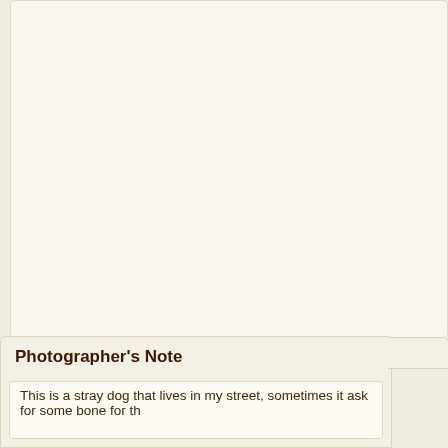[Figure (other): Large empty cream/beige panel area representing a photo or content display region]
Add to Favorites | Add to Theme | Start Discussion | Po...
Photographer's Note
This is a stray dog that lives in my street, sometimes it ask for some bone for th...